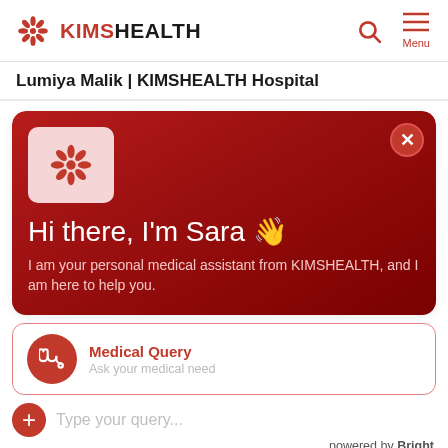KIMSHEALTH
Lumiya Malik | KIMSHEALTH Hospital
[Figure (screenshot): KIMSHEALTH Sara chatbot widget. Dark red gradient header with KIMS logo, close button (X), greeting 'Hi there, I'm Sara 👋', subtitle 'I am your personal medical assistant from KIMSHEALTH, and I am here to help you.']
Medical Query
Ask your medical need
Type your query...
powered by Bright
How long will I stay in the hospital after